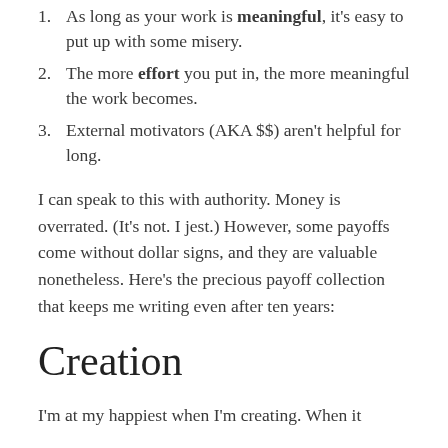As long as your work is meaningful, it's easy to put up with some misery.
The more effort you put in, the more meaningful the work becomes.
External motivators (AKA $$) aren't helpful for long.
I can speak to this with authority. Money is overrated. (It's not. I jest.) However, some payoffs come without dollar signs, and they are valuable nonetheless. Here's the precious payoff collection that keeps me writing even after ten years:
Creation
I'm at my happiest when I'm creating. When it